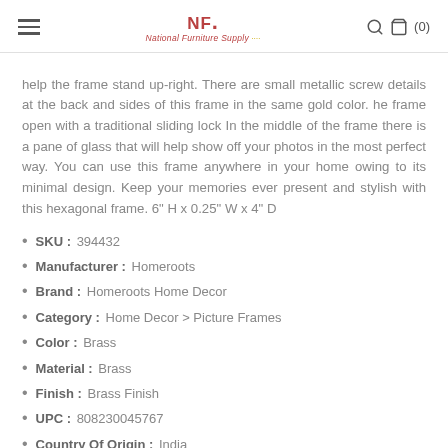NF National Furniture Supply (0)
help the frame stand up-right. There are small metallic screw details at the back and sides of this frame in the same gold color. he frame open with a traditional sliding lock In the middle of the frame there is a pane of glass that will help show off your photos in the most perfect way. You can use this frame anywhere in your home owing to its minimal design. Keep your memories ever present and stylish with this hexagonal frame. 6" H x 0.25" W x 4" D
SKU : 394432
Manufacturer : Homeroots
Brand : Homeroots Home Decor
Category : Home Decor > Picture Frames
Color : Brass
Material : Brass
Finish : Brass Finish
UPC : 808230045767
Country Of Origin : India
Number Of Contents : 1